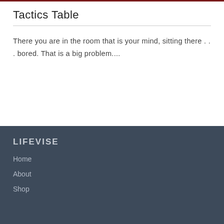Tactics Table
There you are in the room that is your mind, sitting there . . . bored. That is a big problem....
LIFEVISE
Home
About
Shop